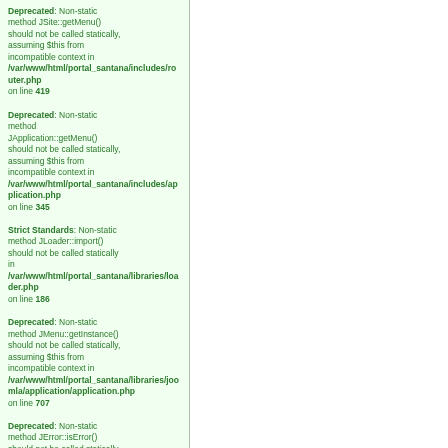Deprecated: Non-static method JSite::getMenu() should not be called statically, assuming $this from incompatible context in /var/www/html/portal_santana/includes/router.php on line 419
Deprecated: Non-static method JApplication::getMenu() should not be called statically, assuming $this from incompatible context in /var/www/html/portal_santana/includes/application.php on line 345
Strict Standards: Non-static method JLoader::import() should not be called statically in /var/www/html/portal_santana/libraries/loader.php on line 186
Deprecated: Non-static method JMenu::getInstance() should not be called statically, assuming $this from incompatible context in /var/www/html/portal_santana/libraries/joomla/application/application.php on line 707
Deprecated: Non-static method JError::isError() should not be called statically, assuming $this from incompatible context in